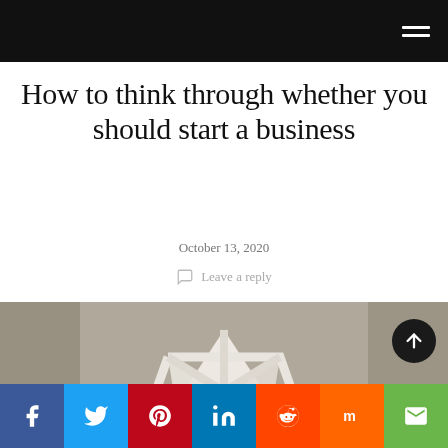Navigation bar with hamburger menu
How to think through whether you should start a business
October 13, 2020
Leave a reply
[Figure (photo): Person standing in front of a wall with a large geometric star/diamond shape made of light-colored lines creating triangular sections on a gray wall background]
Social sharing bar: Facebook, Twitter, Pinterest, LinkedIn, Reddit, Mix, Email